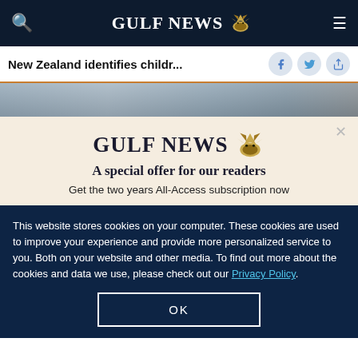GULF NEWS
New Zealand identifies childr...
[Figure (photo): Partial photo strip showing a scene, partially cropped]
GULF NEWS
A special offer for our readers
Get the two years All-Access subscription now
This website stores cookies on your computer. These cookies are used to improve your experience and provide more personalized service to you. Both on your website and other media. To find out more about the cookies and data we use, please check out our Privacy Policy.
OK